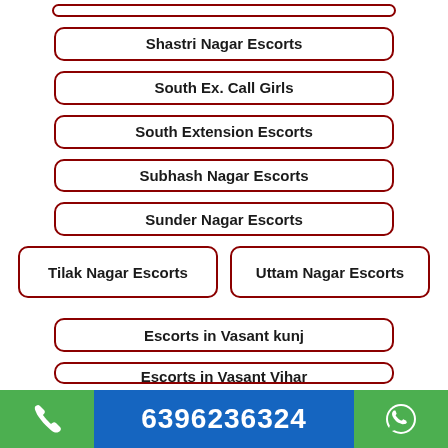(partial top button)
Shastri Nagar Escorts
South Ex. Call Girls
South Extension Escorts
Subhash Nagar Escorts
Sunder Nagar Escorts
Tilak Nagar Escorts
Uttam Nagar Escorts
Escorts in Vasant kunj
Escorts in Vasant Vihar
6396236324